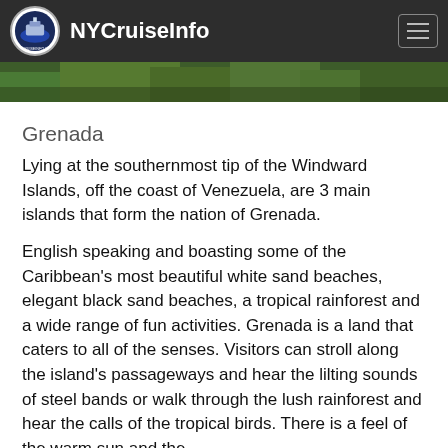NYCruiseInfo
[Figure (photo): Partial view of a tropical/green landscape hero image]
Grenada
Lying at the southernmost tip of the Windward Islands, off the coast of Venezuela, are 3 main islands that form the nation of Grenada.
English speaking and boasting some of the Caribbean's most beautiful white sand beaches, elegant black sand beaches, a tropical rainforest and a wide range of fun activities. Grenada is a land that caters to all of the senses. Visitors can stroll along the island's passageways and hear the lilting sounds of steel bands or walk through the lush rainforest and hear the calls of the tropical birds. There is a feel of the warm sun and the